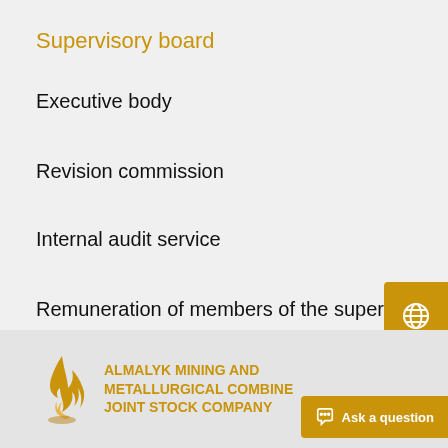Supervisory board
Executive body
Revision commission
Internal audit service
Remuneration of members of the supervisory board
[Figure (logo): Almalyk Mining and Metallurgical Combine Joint Stock Company logo — flame/torch icon in gold/orange]
ALMALYK MINING AND METALLURGICAL COMBINE JOINT STOCK COMPANY